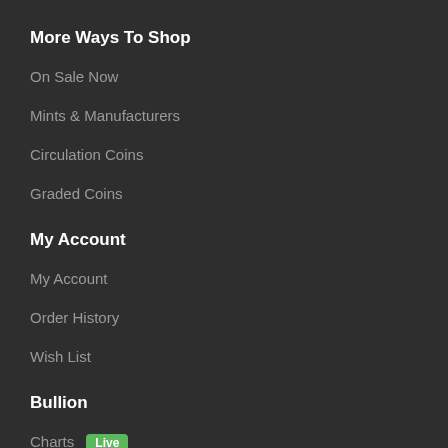More Ways To Shop
On Sale Now
Mints & Manufacturers
Circulation Coins
Graded Coins
My Account
My Account
Order History
Wish List
Bullion
Charts Live
Gold